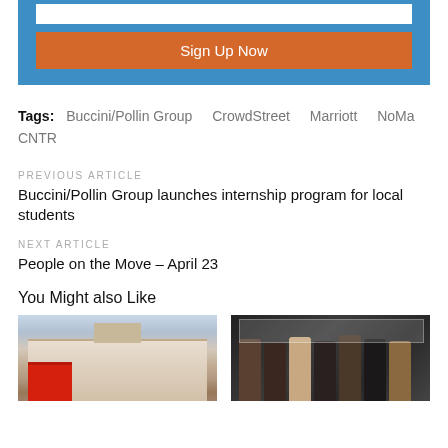[Figure (other): Sign Up Now button in blue box with orange button]
Tags: Buccini/Pollin Group   CrowdStreet   Marriott   NoMa CNTR
PREVIOUS ARTICLE
Buccini/Pollin Group launches internship program for local students
NEXT ARTICLE
People on the Move – April 23
You Might also Like
[Figure (photo): Photo of a Hampton Inn & Suites hotel building exterior]
[Figure (photo): Photo of a group of people holding a large check]